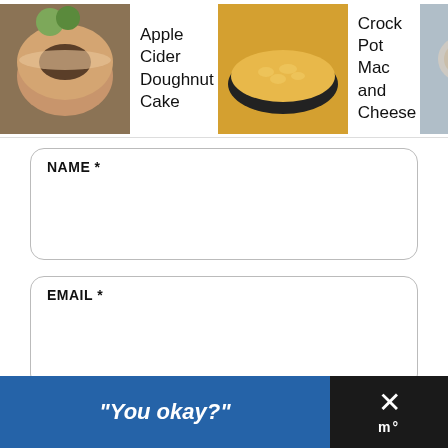[Figure (screenshot): Navigation bar with three recipe thumbnails: Apple Cider Doughnut Cake, Crock Pot Mac and Cheese, Birdseed Ornaments with right arrow]
NAME *
EMAIL *
POST COMMENT
COMMENTS
AMY @ITSAMINDFULLIFE SAYS:
"You okay?"